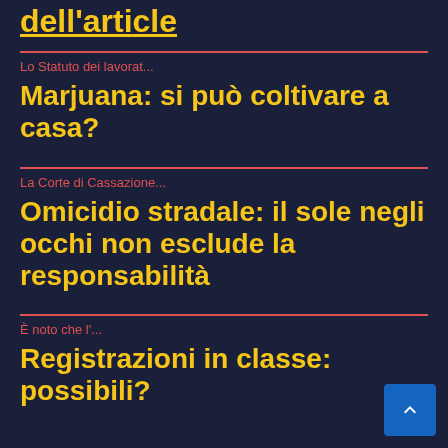dell'articolo
Lo Statuto dei lavorat...
Marjuana: si può coltivare a casa?
La Corte di Cassazione...
Omicidio stradale: il sole negli occhi non esclude la responsabilità
È noto che l'...
Registrazioni in classe: possibili?